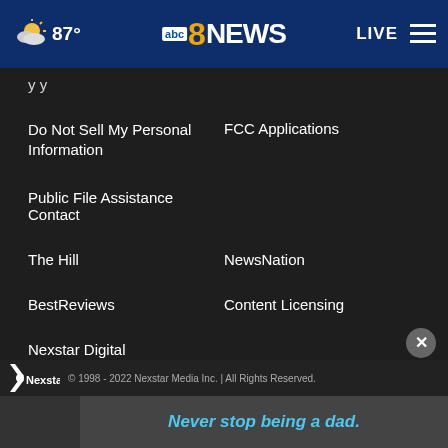[Figure (screenshot): News website header with weather icon showing cloudy/sunny at 87°, ABC 8 News logo centered, LIVE button and hamburger menu on the right, dark blue background]
y y
Do Not Sell My Personal Information
FCC Applications
Public File Assistance Contact
The Hill
NewsNation
BestReviews
Content Licensing
Nexstar Digital
© 1998 - 2022 Nexstar Media Inc. | All Rights Reserved.
[Figure (photo): Advertisement banner showing a man and child with text 'Never stop being a dad.' in blue italic font on dark background]